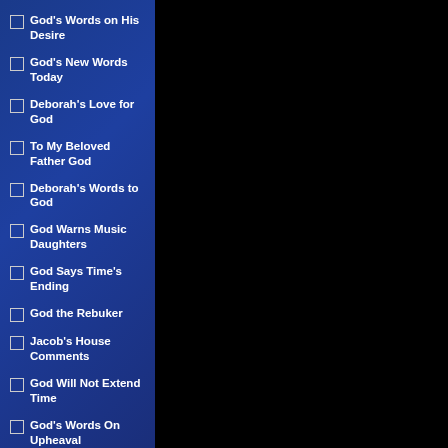God's Words on His Desire
God's New Words Today
Deborah's Love for God
To My Beloved Father God
Deborah's Words to God
God Warns Music Daughters
God Says Time's Ending
God the Rebuker
Jacob's House Comments
God Will Not Extend Time
God's Words On Upheaval